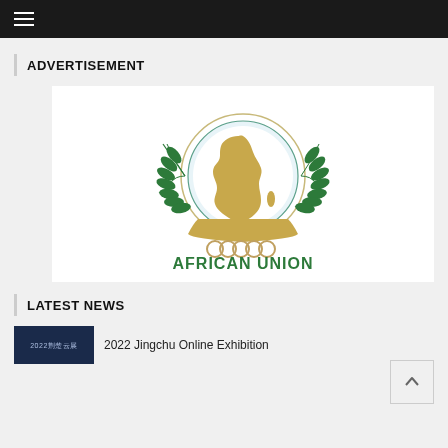≡ (hamburger menu)
ADVERTISEMENT
[Figure (logo): African Union logo: circular emblem with map of Africa in gold/tan color, green laurel wreaths on sides, gold hands cupping the circle, interlocking rings at the bottom, text 'AFRICAN UNION' in green below]
LATEST NEWS
[Figure (photo): Dark blue thumbnail image with Chinese text '2022荆楚云展']
2022 Jingchu Online Exhibition